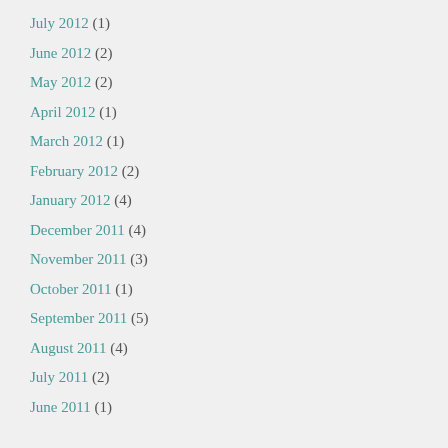July 2012 (1)
June 2012 (2)
May 2012 (2)
April 2012 (1)
March 2012 (1)
February 2012 (2)
January 2012 (4)
December 2011 (4)
November 2011 (3)
October 2011 (1)
September 2011 (5)
August 2011 (4)
July 2011 (2)
June 2011 (1)